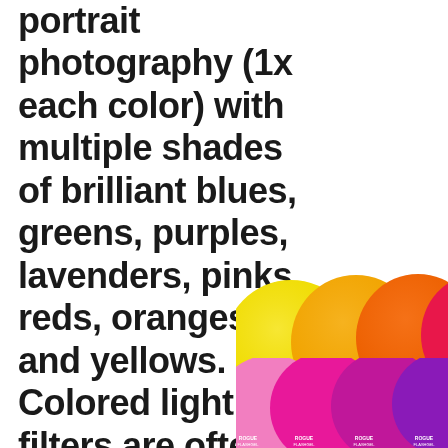portrait photography (1x each color) with multiple shades of brilliant blues, greens, purples, lavenders, pinks, reds, oranges, and yellows. Colored lighting filters are often used on accent or
[Figure (photo): Row of circular colored gel filters in yellow, orange, and orange-red shades with product labels, partially cropped at right edge]
[Figure (photo): Row of circular colored gel filters in pink, magenta, and purple shades with product labels, partially cropped at right edge]